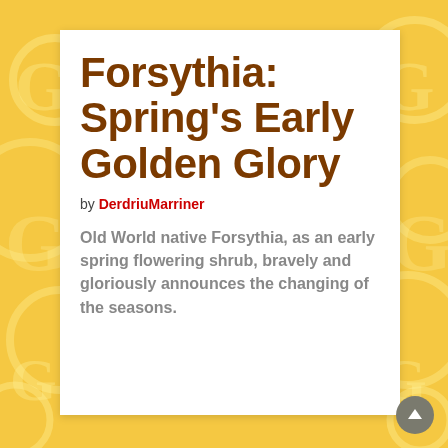Forsythia: Spring's Early Golden Glory
by DerdriuMarriner
Old World native Forsythia, as an early spring flowering shrub, bravely and gloriously announces the changing of the seasons.